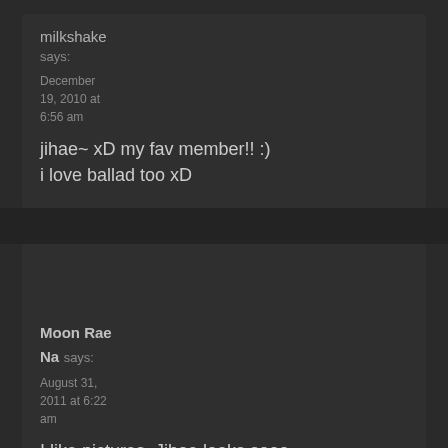milkshake says: December 19, 2010 at 6:56 am jihae~ xD my fav member!! :) i love ballad too xD
Moon Rae Na says: August 31, 2011 at 6:22 am I like pictures. Jihae looks sooo